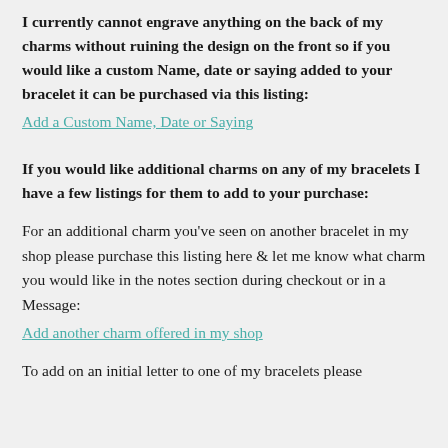I currently cannot engrave anything on the back of my charms without ruining the design on the front so if you would like a custom Name, date or saying added to your bracelet it can be purchased via this listing:
Add a Custom Name, Date or Saying
If you would like additional charms on any of my bracelets I have a few listings for them to add to your purchase:
For an additional charm you've seen on another bracelet in my shop please purchase this listing here & let me know what charm you would like in the notes section during checkout or in a Message:
Add another charm offered in my shop
To add on an initial letter to one of my bracelets please